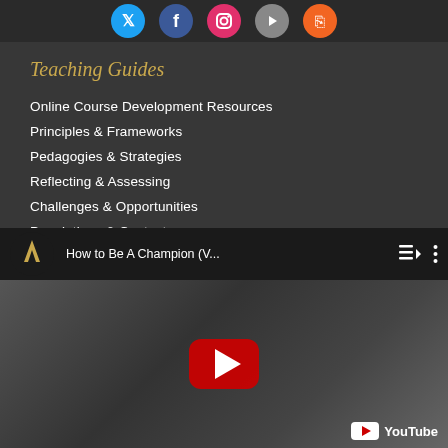[Figure (infographic): Row of social media icons at top: Twitter (blue bird), Facebook (blue f), Instagram (pink camera), YouTube (gray play), RSS (orange feed)]
Teaching Guides
Online Course Development Resources
Principles & Frameworks
Pedagogies & Strategies
Reflecting & Assessing
Challenges & Opportunities
Populations & Contexts
[Figure (screenshot): YouTube video thumbnail showing 'How to Be A Champion (V...' with Vanderbilt V logo on dark header bar, red YouTube play button centered over grayscale thumbnail of students at academic honor event, YouTube branding in bottom right]